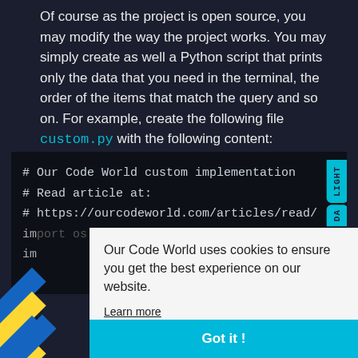Of course as the project is open source, you may modify the way the project works. You may simply create as well a Python script that prints only the data that you need in the terminal, the order of the items that match the query and so on. For example, create the following file custom.py with the following content:
[Figure (screenshot): Dark-themed code block showing Python comments with LIGHT/DARK theme toggle tabs on the right side, and partial code lines visible]
Our Code World uses cookies to ensure you get the best experience on our website.
Learn more
Got it !